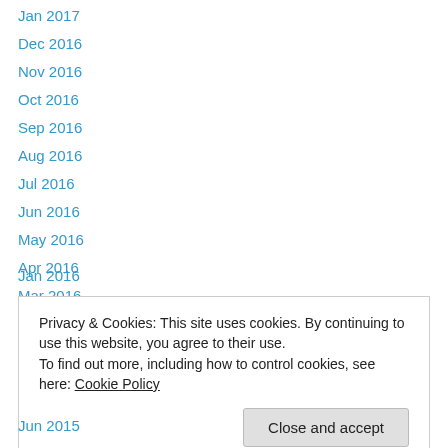Jan 2017
Dec 2016
Nov 2016
Oct 2016
Sep 2016
Aug 2016
Jul 2016
Jun 2016
May 2016
Apr 2016
Mar 2016
Feb 2016
Jan 2016
Privacy & Cookies: This site uses cookies. By continuing to use this website, you agree to their use.
To find out more, including how to control cookies, see here: Cookie Policy
Jun 2015